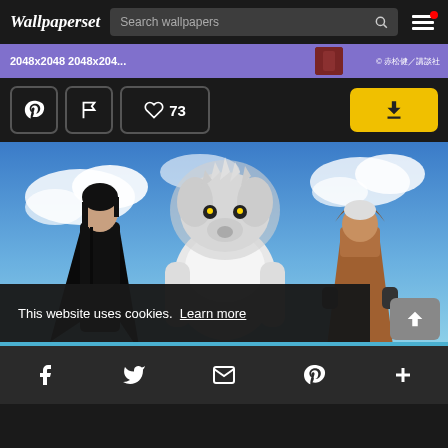Wallpaperset — Search wallpapers
2048x2048 2048x204...
© 赤松健／講談社
73
[Figure (screenshot): Anime wallpaper website screenshot showing three anime characters standing — a dark-haired character in black, a large white beast/lion-like creature, and a robed character — against a blue sky background.]
This website uses cookies.  Learn more